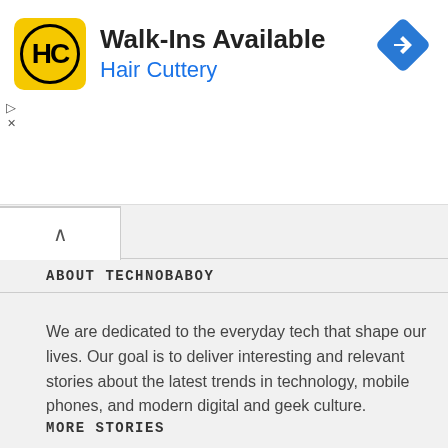[Figure (infographic): Hair Cuttery advertisement banner with yellow HC logo, text 'Walk-Ins Available' and 'Hair Cuttery' in blue, and a blue diamond navigation icon on the right.]
ABOUT TECHNOBABOY
We are dedicated to the everyday tech that shape our lives. Our goal is to deliver interesting and relevant stories about the latest trends in technology, mobile phones, and modern digital and geek culture.
MORE STORIES